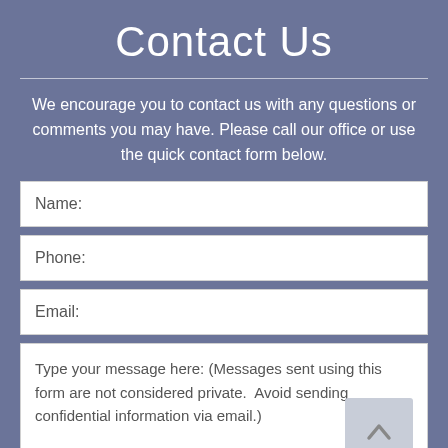Contact Us
We encourage you to contact us with any questions or comments you may have. Please call our office or use the quick contact form below.
Name:
Phone:
Email:
Type your message here: (Messages sent using this form are not considered private.  Avoid sending confidential information via email.)